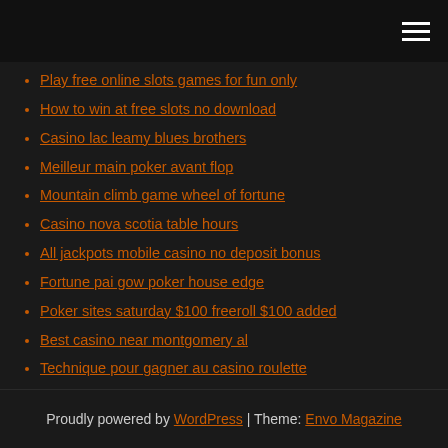Play free online slots games for fun only
How to win at free slots no download
Casino lac leamy blues brothers
Meilleur main poker avant flop
Mountain climb game wheel of fortune
Casino nova scotia table hours
All jackpots mobile casino no deposit bonus
Fortune pai gow poker house edge
Poker sites saturday $100 freeroll $100 added
Best casino near montgomery al
Technique pour gagner au casino roulette
Proudly powered by WordPress | Theme: Envo Magazine